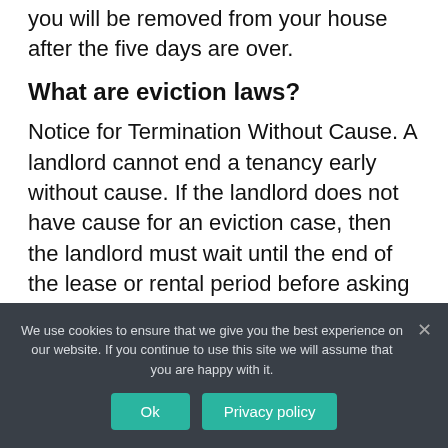you will be removed from your house after the five days are over.
What are eviction laws?
Notice for Termination Without Cause. A landlord cannot end a tenancy early without cause. If the landlord does not have cause for an eviction case, then the landlord must wait until the end of the lease or rental period before asking or expecting the tenant to move.
We use cookies to ensure that we give you the best experience on our website. If you continue to use this site we will assume that you are happy with it.